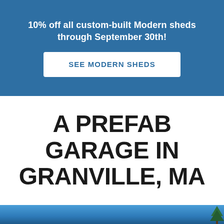10% off all custom-built Modern sheds through September 30th!
SEE MODERN SHEDS
A PREFAB GARAGE IN GRANVILLE, MA
[Figure (photo): Bottom strip showing blue sky and treetops, partial view of outdoor scene]